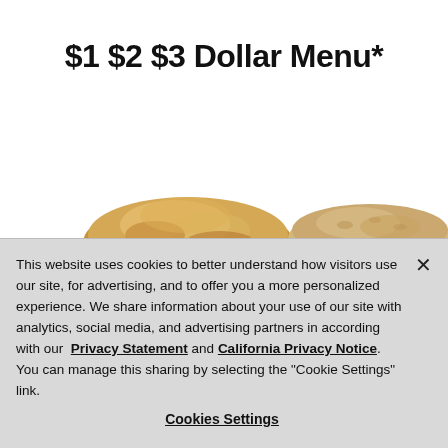$1 $2 $3 Dollar Menu*
[Figure (photo): Two breakfast items — a biscuit on the left and an English muffin on the right, partially visible, on a white background.]
This website uses cookies to better understand how visitors use our site, for advertising, and to offer you a more personalized experience. We share information about your use of our site with analytics, social media, and advertising partners in according with our  Privacy Statement and California Privacy Notice. You can manage this sharing by selecting the "Cookie Settings" link.
Cookies Settings